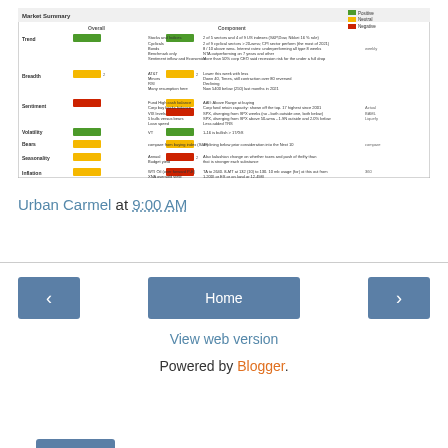[Figure (table-as-image): Market Summary table with color-coded status indicators (green, yellow, red) for various market categories including Trend, Breadth, Sentiment, Volatility, Bears, Seasonality, Inflation]
Urban Carmel at 9:00 AM
Share
Home
View web version
Powered by Blogger.